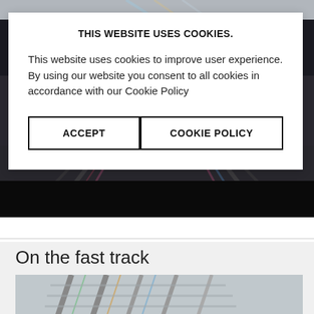[Figure (photo): Partially visible railway tracks photo at top of page]
[Figure (photo): Railway tracks with colorful markings, dark night-time photo behind cookie modal]
THIS WEBSITE USES COOKIES.
This website uses cookies to improve user experience. By using our website you consent to all cookies in accordance with our Cookie Policy
ACCEPT
COOKIE POLICY
On the fast track
[Figure (photo): Aerial view of railway tracks with colorful markings]